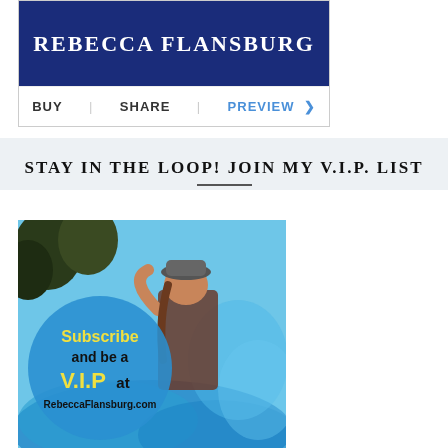[Figure (screenshot): Rebecca Flansburg book card with dark blue cover showing author name, and action buttons: BUY | SHARE | PREVIEW >]
[Figure (photo): Background photo strip — blurred interior, light grey/blue tones]
STAY IN THE LOOP! JOIN MY V.I.P. LIST
[Figure (infographic): Subscribe and be a V.I.P at RebeccaFlansburg.com — promotional image with young woman surrounded by blue smoke, blue circle overlay with yellow and black text]